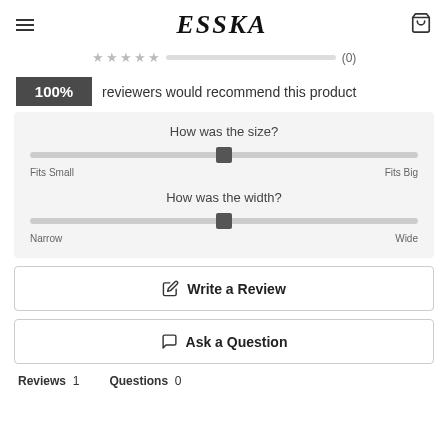ESSKA
(0)
100% reviewers would recommend this product
[Figure (infographic): Two slider controls inside a light grey box. First slider labeled 'How was the size?' with endpoints 'Fits Small' and 'Fits Big', thumb at center. Second slider labeled 'How was the width?' with endpoints 'Narrow' and 'Wide', thumb at center.]
Write a Review
Ask a Question
Reviews  1    Questions  0